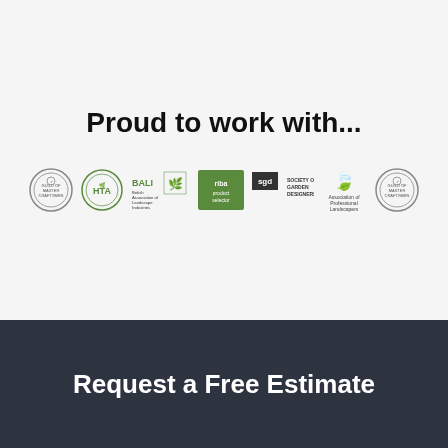Proud to work with...
[Figure (logo): Row of seven partner/association logos: Guild of Master Craftsmen (circular badge), HTA (circular green leaf badge), BALI British Association of Landscape Industries, RIBA Product Selector (green square), SGD Society of Garden Designers, APL Association of Professional Landscapers (green leaf), Guild of Master Craftsmen (circular badge repeat)]
Request a Free Estimate